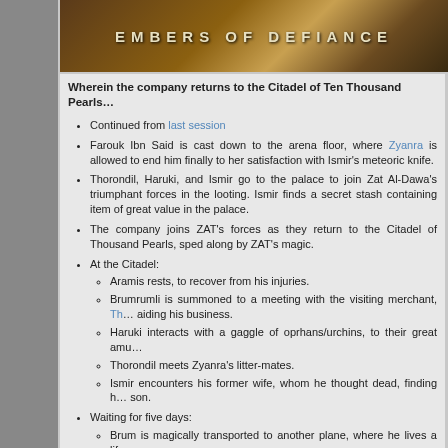[Figure (illustration): Banner image with decorative golden/brown background and text 'EMBERS OF DEFIANCE' in spaced uppercase letters]
Wherein the company returns to the Citadel of Ten Thousand Pearls…
Continued from last session
Farouk Ibn Said is cast down to the arena floor, where Zyanra is allowed to end him finally to her satisfaction with Ismir's meteoric knife.
Thorondil, Haruki, and Ismir go to the palace to join Zat Al-Dawa's triumphant forces in the looting. Ismir finds a secret stash containing item of great value in the palace.
The company joins ZAT's forces as they return to the Citadel of Thousand Pearls, sped along by ZAT's magic.
At the Citadel:
Aramis rests, to recover from his injuries.
Brumrumli is summoned to a meeting with the visiting merchant, Th… aiding his business.
Haruki interacts with a gaggle of oprhans/urchins, to their great amu…
Thorondil meets Zyanra's litter-mates.
Ismir encounters his former wife, whom he thought dead, finding h… son.
Waiting for five days:
Brum is magically transported to another plane, where he lives a lif…